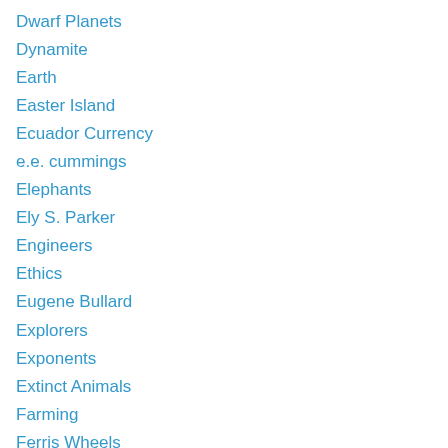Dwarf Planets
Dynamite
Earth
Easter Island
Ecuador Currency
e.e. cummings
Elephants
Ely S. Parker
Engineers
Ethics
Eugene Bullard
Explorers
Exponents
Extinct Animals
Farming
Ferris Wheels
Fireproof Safes
Fog
Foreign Language
Fractions